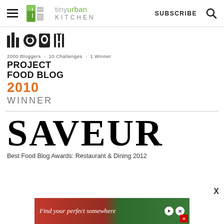tiny urban KITCHEN | SUBSCRIBE
[Figure (logo): Project Food Blog 2010 Winner badge with icons showing cameras and utensils, tagline: 2000 Bloggers · 10 Challenges · 1 Winner]
SAVEUR
Best Food Blog Awards: Restaurant & Dining 2012
[Figure (photo): Advertisement banner: Find your perfect somewhere - travel/hotel ad with red and green background]